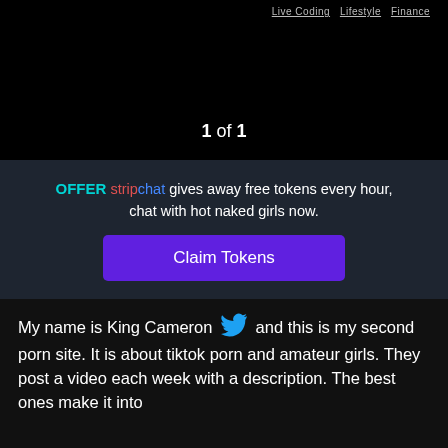Live Coding  Lifestyle  Finance
1 of 1
OFFER stripchat gives away free tokens every hour, chat with hot naked girls now.
Claim Tokens
My name is King Cameron and this is my second porn site. It is about tiktok porn and amateur girls. They post a video each week with a description. The best ones make it into